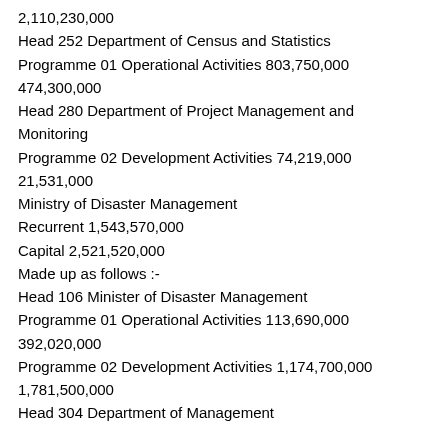2,110,230,000
Head 252 Department of Census and Statistics
Programme 01 Operational Activities 803,750,000 474,300,000
Head 280 Department of Project Management and Monitoring
Programme 02 Development Activities 74,219,000 21,531,000
Ministry of Disaster Management
Recurrent 1,543,570,000
Capital 2,521,520,000
Made up as follows :-
Head 106 Minister of Disaster Management
Programme 01 Operational Activities 113,690,000 392,020,000
Programme 02 Development Activities 1,174,700,000 1,781,500,000
Head 304 Department of Management